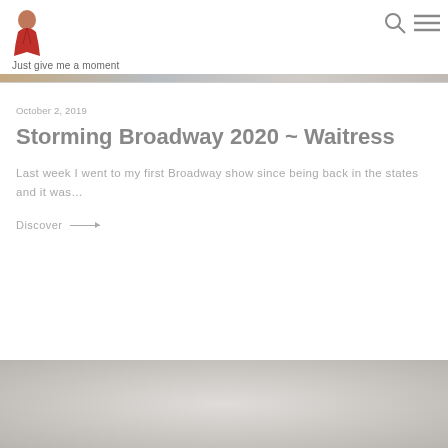Just give me a moment
October 2, 2019
Storming Broadway 2020 ~ Waitress
Last week I went to my first Broadway show since being back in the states and it was…
Discover →
[Figure (photo): Decorative image at the bottom of the page, showing a light grey textured background]